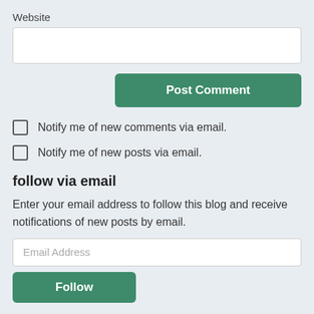Website
[Figure (screenshot): Empty white text input box for website URL]
Post Comment
Notify me of new comments via email.
Notify me of new posts via email.
follow via email
Enter your email address to follow this blog and receive notifications of new posts by email.
Email Address
Follow